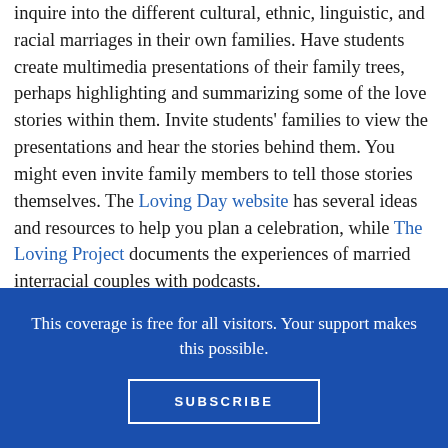inquire into the different cultural, ethnic, linguistic, and racial marriages in their own families. Have students create multimedia presentations of their family trees, perhaps highlighting and summarizing some of the love stories within them. Invite students' families to view the presentations and hear the stories behind them. You might even invite family members to tell those stories themselves. The Loving Day website has several ideas and resources to help you plan a celebration, while The Loving Project documents the experiences of married interracial couples with podcasts.
This coverage is free for all visitors. Your support makes this possible.
SUBSCRIBE